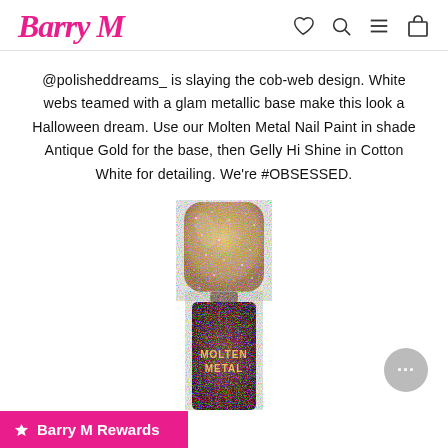Barry M
@polisheddreams_ is slaying the cob-web design. White webs teamed with a glam metallic base make this look a Halloween dream. Use our Molten Metal Nail Paint in shade Antique Gold for the base, then Gelly Hi Shine in Cotton White for detailing. We're #OBSESSED.
[Figure (photo): Barry M Molten Metal nail polish bottle with glittery rose-gold/antique gold cap and dark metallic glitter body, label reads MOLTEN METAL]
Barry M Rewards